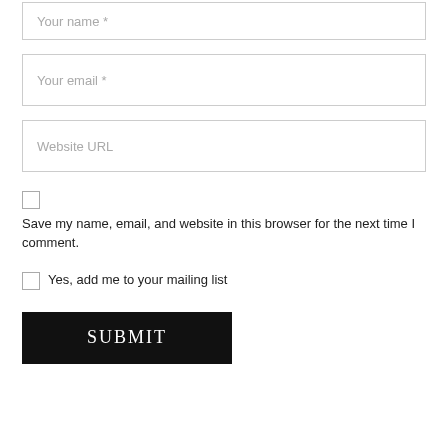Your name *
Your email *
Website URL
Save my name, email, and website in this browser for the next time I comment.
Yes, add me to your mailing list
SUBMIT